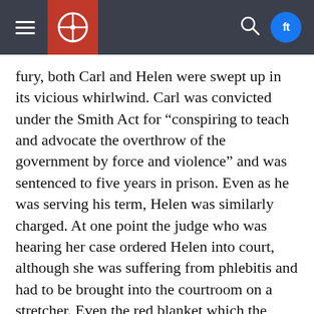[Navigation header with hamburger menu, logo, search icon, and social media icons]
fury, both Carl and Helen were swept up in its vicious whirlwind. Carl was convicted under the Smith Act for “conspiring to teach and advocate the overthrow of the government by force and violence” and was sentenced to five years in prison. Even as he was serving his term, Helen was similarly charged. At one point the judge who was hearing her case ordered Helen into court, although she was suffering from phlebitis and had to be brought into the courtroom on a stretcher. Even the red blanket which the ambulance drivers had placed over Helen became an issue. Convinced that it represented a subversive political statement, the judge ordered it removed and declared the trial in recess. Helen’s conviction was appealed all the way to the U.S. Supreme Court and became one of the...